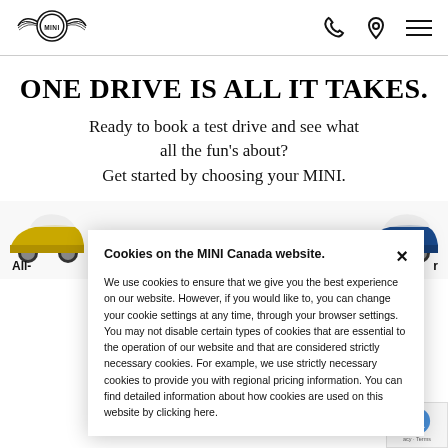[Figure (logo): MINI car brand logo with wings and circular emblem]
ONE DRIVE IS ALL IT TAKES.
Ready to book a test drive and see what all the fun's about? Get started by choosing your MINI.
[Figure (screenshot): Cookie consent modal dialog on the MINI Canada website]
Cookies on the MINI Canada website.
We use cookies to ensure that we give you the best experience on our website. However, if you would like to, you can change your cookie settings at any time, through your browser settings. You may not disable certain types of cookies that are essential to the operation of our website and that are considered strictly necessary cookies. For example, we use strictly necessary cookies to provide you with regional pricing information. You can find detailed information about how cookies are used on this website by clicking here.